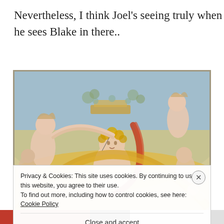Nevertheless, I think Joel's seeing truly when he sees Blake in there..
[Figure (illustration): A William Blake painting showing ethereal figures — nude angels or mythological beings with flowing hair and outstretched arms, surrounding a central female figure with golden hair, set against a background of blue sky and golden arcs. Warm yellows, soft pinks, and muted blues dominate the palette.]
Privacy & Cookies: This site uses cookies. By continuing to use this website, you agree to their use. To find out more, including how to control cookies, see here: Cookie Policy
Close and accept